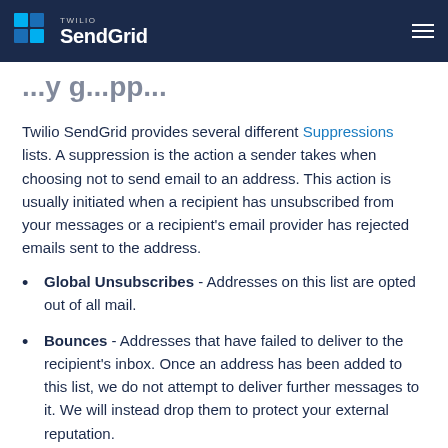Twilio SendGrid (logo/navigation header)
...y g... pp... (partial title, cut off)
Twilio SendGrid provides several different Suppressions lists. A suppression is the action a sender takes when choosing not to send email to an address. This action is usually initiated when a recipient has unsubscribed from your messages or a recipient's email provider has rejected emails sent to the address.
Global Unsubscribes - Addresses on this list are opted out of all mail.
Bounces - Addresses that have failed to deliver to the recipient's inbox. Once an address has been added to this list, we do not attempt to deliver further messages to it. We will instead drop them to protect your external reputation.
Spam Reports - Addresses that have marked your mail as spam.